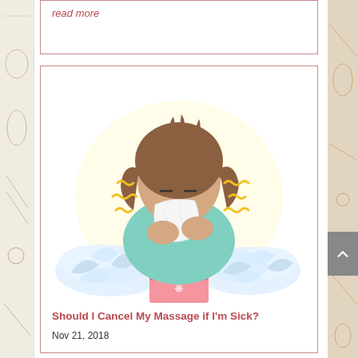read more
[Figure (illustration): Cartoon illustration of a woman with brown hair blowing her nose into a tissue, surrounded by crumpled used tissues and a pink tissue box, with yellow squiggly lines indicating illness or sneezing]
Should I Cancel My Massage if I'm Sick?
Nov 21, 2018